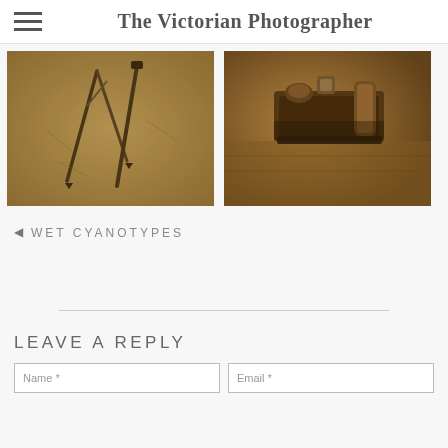The Victorian Photographer
[Figure (photo): Sepia-toned close-up photograph of technical drawing instruments including a compass/divider tool on a textured surface]
[Figure (photo): Sepia-toned close-up photograph of a vintage woodworking plane tool on a wooden surface]
◄  WET CYANOTYPES
LEAVE A REPLY